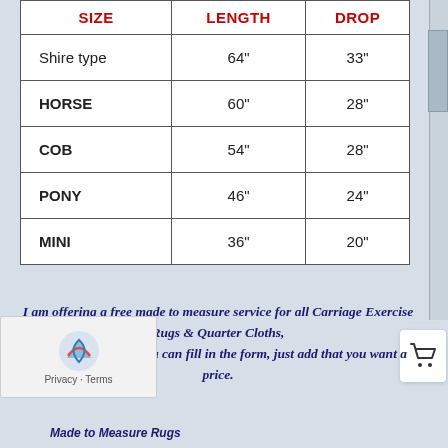| SIZE | LENGTH | DROP |
| --- | --- | --- |
| Shire type | 64" | 33" |
| HORSE | 60" | 28" |
| COB | 54" | 28" |
| PONY | 46" | 24" |
| MINI | 36" | 20" |
I am offering a free made to measure service for all Carriage Exercise Rugs & Quarter Cloths, ask me for a quote, you can fill in the form, just add that you want a price.
Made to Measure Rugs